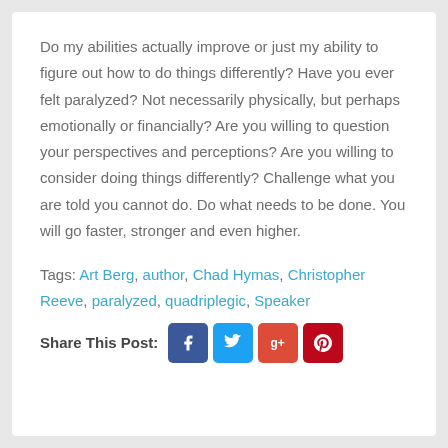Do my abilities actually improve or just my ability to figure out how to do things differently? Have you ever felt paralyzed? Not necessarily physically, but perhaps emotionally or financially? Are you willing to question your perspectives and perceptions? Are you willing to consider doing things differently? Challenge what you are told you cannot do. Do what needs to be done. You will go faster, stronger and even higher.
Tags: Art Berg, author, Chad Hymas, Christopher Reeve, paralyzed, quadriplegic, Speaker
Share This Post: [Facebook] [Twitter] [Google+] [Pinterest]